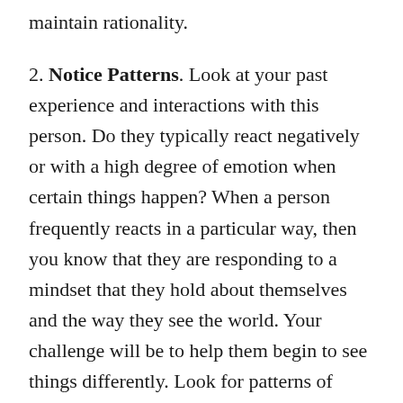maintain rationality.
2. Notice Patterns. Look at your past experience and interactions with this person. Do they typically react negatively or with a high degree of emotion when certain things happen? When a person frequently reacts in a particular way, then you know that they are responding to a mindset that they hold about themselves and the way they see the world. Your challenge will be to help them begin to see things differently. Look for patterns of behavior to help you anticipate who may do what.